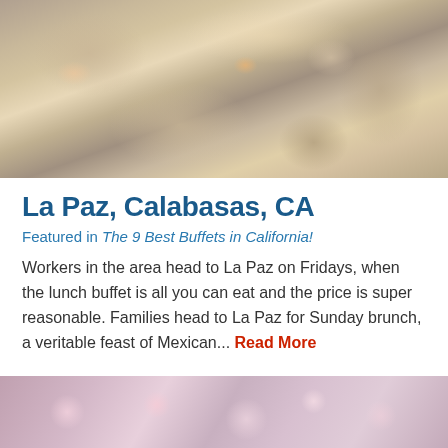[Figure (photo): Close-up of a buffet serving station with hands handling plates and various food dishes visible]
La Paz, Calabasas, CA
Featured in The 9 Best Buffets in California!
Workers in the area head to La Paz on Fridays, when the lunch buffet is all you can eat and the price is super reasonable. Families head to La Paz for Sunday brunch, a veritable feast of Mexican... Read More
[Figure (photo): Blurred background bokeh image of a restaurant setting with soft pink and warm tones]